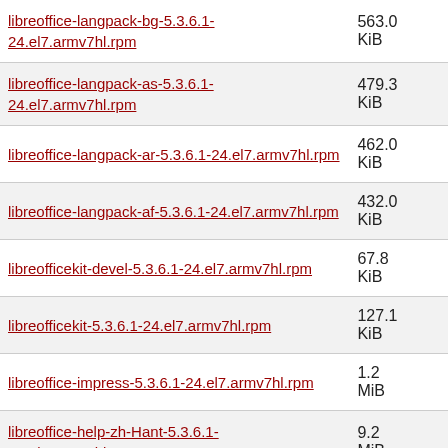| Filename | Size |
| --- | --- |
| libreoffice-langpack-bg-5.3.6.1-24.el7.armv7hl.rpm | 563.0 KiB |
| libreoffice-langpack-as-5.3.6.1-24.el7.armv7hl.rpm | 479.3 KiB |
| libreoffice-langpack-ar-5.3.6.1-24.el7.armv7hl.rpm | 462.0 KiB |
| libreoffice-langpack-af-5.3.6.1-24.el7.armv7hl.rpm | 432.0 KiB |
| libreofficekit-devel-5.3.6.1-24.el7.armv7hl.rpm | 67.8 KiB |
| libreofficekit-5.3.6.1-24.el7.armv7hl.rpm | 127.1 KiB |
| libreoffice-impress-5.3.6.1-24.el7.armv7hl.rpm | 1.2 MiB |
| libreoffice-help-zh-Hant-5.3.6.1-24.el7.armv7hl.rpm | 9.2 MiB |